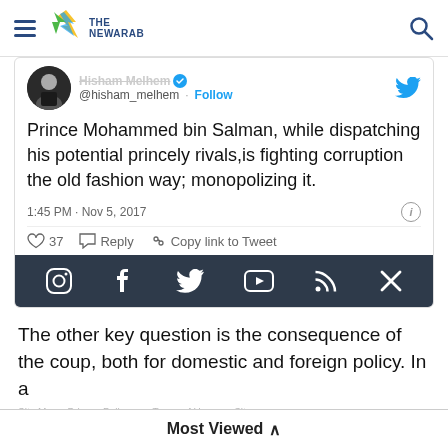THE NEW ARAB
[Figure (screenshot): Embedded tweet from @hisham_melhem with text: Prince Mohammed bin Salman, while dispatching his potential princely rivals,is fighting corruption the old fashion way; monopolizing it. Timestamp: 1:45 PM · Nov 5, 2017. 37 likes. Social sharing bar with Instagram, Facebook, Twitter, YouTube, RSS, and close icons.]
The other key question is the consequence of the coup, both for domestic and foreign policy. In a
Most Viewed ∧